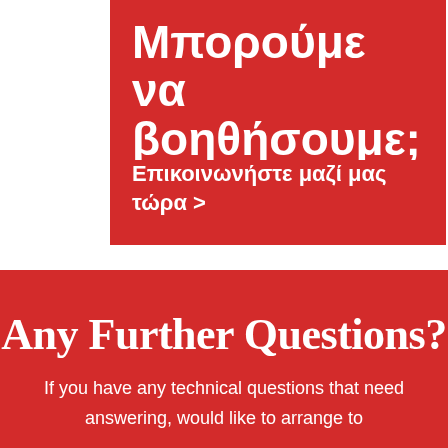Μπορούμε να βοηθήσουμε;
Επικοινωνήστε μαζί μας τώρα >
Any Further Questions?
If you have any technical questions that need answering, would like to arrange to